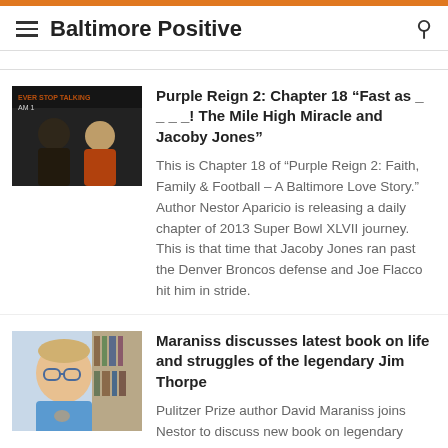Baltimore Positive
[Figure (photo): Two men posing for a photo in a radio studio setting with 'EVER STOP TALKING' and 'AM 1' signage visible in the background]
Purple Reign 2: Chapter 18 “Fast as _ _ _ _! The Mile High Miracle and Jacoby Jones”
This is Chapter 18 of "Purple Reign 2: Faith, Family & Football – A Baltimore Love Story." Author Nestor Aparicio is releasing a daily chapter of 2013 Super Bowl XLVII journey. This is that time that Jacoby Jones ran past the Denver Broncos defense and Joe Flacco hit him in stride.
[Figure (photo): Middle-aged man with glasses wearing a blue shirt, seated in front of bookshelves]
Maraniss discusses latest book on life and struggles of the legendary Jim Thorpe
Pulitzer Prize author David Maraniss joins Nestor to discuss new book on legendary athlete Jim Thorpe